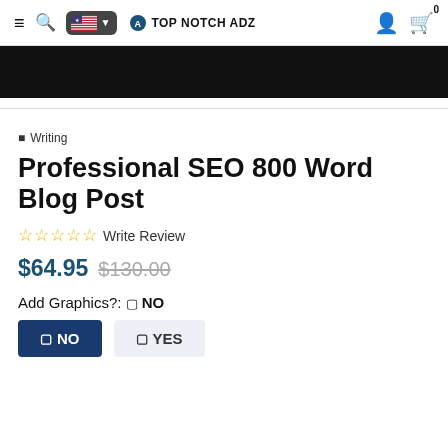Top Notch Adz
[Figure (screenshot): Black banner image area]
Writing
Professional SEO 800 Word Blog Post
☆ ☆ ☆ ☆ ☆ Write Review
$64.95 $130.00
Add Graphics?: ❑ NO
❑ NO   ❑ YES